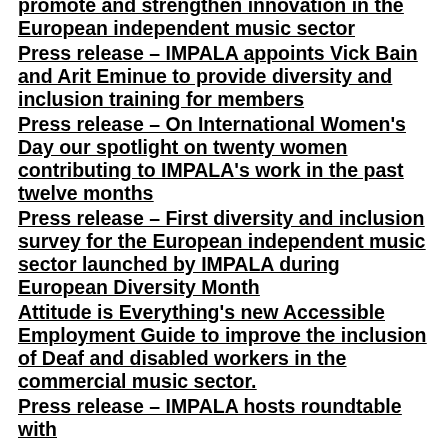promote and strengthen innovation in the European independent music sector
Press release – IMPALA appoints Vick Bain and Arit Eminue to provide diversity and inclusion training for members
Press release – On International Women's Day our spotlight on twenty women contributing to IMPALA's work in the past twelve months
Press release – First diversity and inclusion survey for the European independent music sector launched by IMPALA during European Diversity Month
Attitude is Everything's new Accessible Employment Guide to improve the inclusion of Deaf and disabled workers in the commercial music sector.
Press release – IMPALA hosts roundtable with